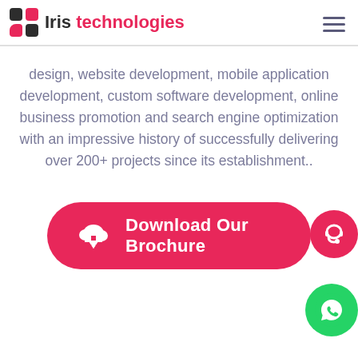Iris technologies
design, website development, mobile application development, custom software development, online business promotion and search engine optimization with an impressive history of successfully delivering over 200+ projects since its establishment..
[Figure (other): Download Our Brochure button with cloud download icon, pink rounded rectangle button]
[Figure (other): Customer support headset icon in a pink circle]
[Figure (other): WhatsApp logo icon in a green circle]